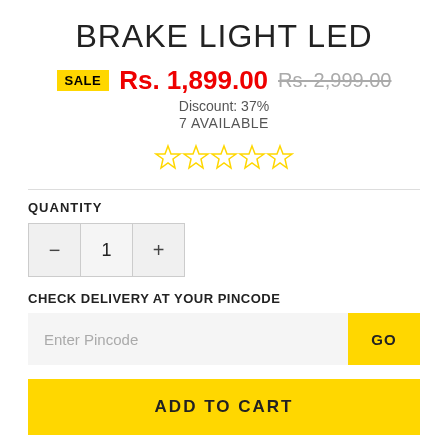BRAKE LIGHT LED
SALE Rs. 1,899.00 Rs. 2,999.00
Discount: 37%
7 AVAILABLE
[Figure (other): 5 empty star rating icons in golden outline]
QUANTITY
[Figure (other): Quantity selector with minus button, value 1, and plus button]
CHECK DELIVERY AT YOUR PINCODE
[Figure (other): Pincode input field with placeholder 'Enter Pincode' and GO button]
ADD TO CART